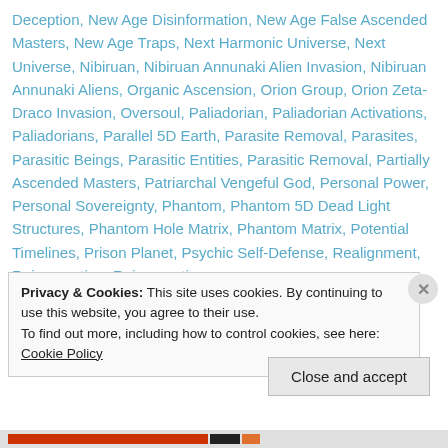Deception, New Age Disinformation, New Age False Ascended Masters, New Age Traps, Next Harmonic Universe, Next Universe, Nibiruan, Nibiruan Annunaki Alien Invasion, Nibiruan Annunaki Aliens, Organic Ascension, Orion Group, Orion Zeta-Draco Invasion, Oversoul, Paliadorian, Paliadorian Activations, Paliadorians, Parallel 5D Earth, Parasite Removal, Parasites, Parasitic Beings, Parasitic Entities, Parasitic Removal, Partially Ascended Masters, Patriarchal Vengeful God, Personal Power, Personal Sovereignty, Phantom, Phantom 5D Dead Light Structures, Phantom Hole Matrix, Phantom Matrix, Potential Timelines, Prison Planet, Psychic Self-Defense, Realignment, Reincarnation, Reincarnation
Privacy & Cookies: This site uses cookies. By continuing to use this website, you agree to their use.
To find out more, including how to control cookies, see here: Cookie Policy